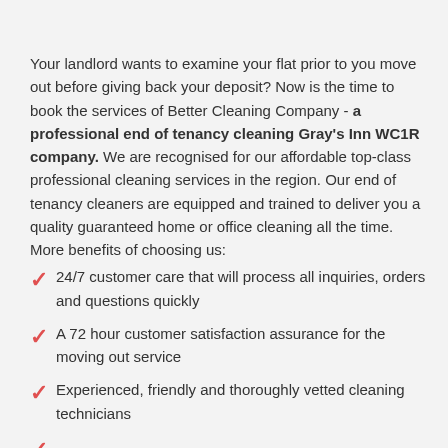Your landlord wants to examine your flat prior to you move out before giving back your deposit? Now is the time to book the services of Better Cleaning Company - a professional end of tenancy cleaning Gray's Inn WC1R company. We are recognised for our affordable top-class professional cleaning services in the region. Our end of tenancy cleaners are equipped and trained to deliver you a quality guaranteed home or office cleaning all the time.
More benefits of choosing us:
24/7 customer care that will process all inquiries, orders and questions quickly
A 72 hour customer satisfaction assurance for the moving out service
Experienced, friendly and thoroughly vetted cleaning technicians